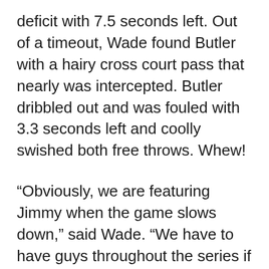deficit with 7.5 seconds left. Out of a timeout, Wade found Butler with a hairy cross court pass that nearly was intercepted. Butler dribbled out and was fouled with 3.3 seconds left and coolly swished both free throws. Whew!
“Obviously, we are featuring Jimmy when the game slows down,” said Wade. “We have to have guys throughout the series if we are going to win; it has to be their night. One night it’s gonna be Niko (Mirotic, though one of nine Sunday). One night it might be me, one night it might have to be Rondo and so forth. Like